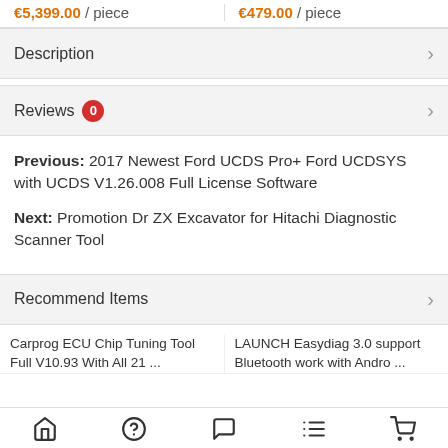€5,399.00 / piece   €479.00 / piece
Description
Reviews 0
Previous: 2017 Newest Ford UCDS Pro+ Ford UCDSYS with UCDS V1.26.008 Full License Software
Next: Promotion Dr ZX Excavator for Hitachi Diagnostic Scanner Tool
Recommend Items
Carprog ECU Chip Tuning Tool Full V10.93 With All 21 ...
LAUNCH Easydiag 3.0 support Bluetooth work with Andro ...
Home  Help  Chat  List  Cart